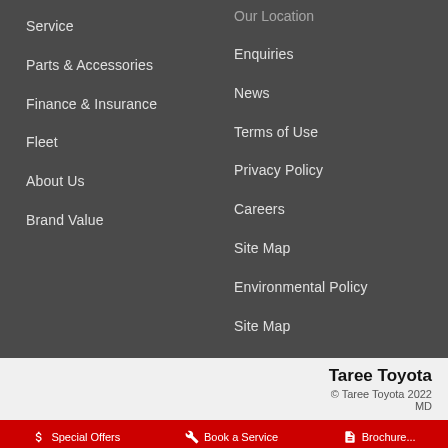Service
Parts & Accessories
Finance & Insurance
Fleet
About Us
Brand Value
Our Location
Enquiries
News
Terms of Use
Privacy Policy
Careers
Site Map
Environmental Policy
Site Map
Taree Toyota
© Taree Toyota 2022
MD...
Special Offers | Book a Service | Brochure...